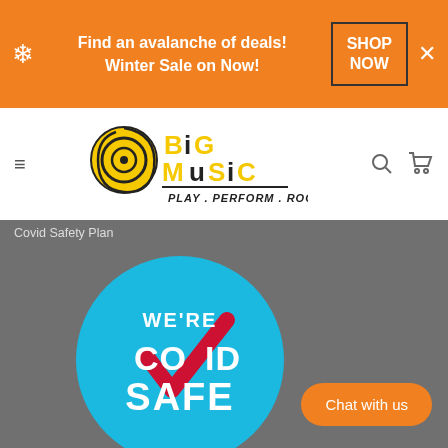Find an avalanche of deals! Winter Sale on Now! | SHOP NOW
[Figure (logo): Big Music logo with text PLAY. PERFORM. ROCK!]
Covid Safety Plan
[Figure (illustration): We're Covid Safe badge - circular blue badge with checkmark and text WE'RE COVID SAFE]
Chat with us